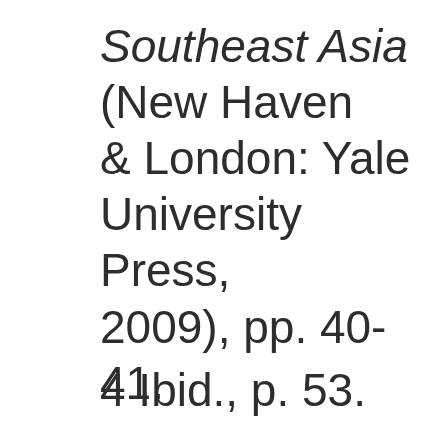Southeast Asia (New Haven & London: Yale University Press, 2009), pp. 40-41.
4 Ibid., p. 53.